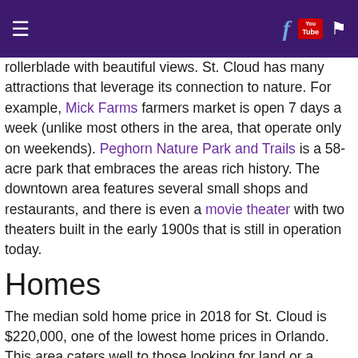≡  [social icons: Facebook, YouTube, Flag]
rollerblade with beautiful views. St. Cloud has many attractions that leverage its connection to nature. For example, Mick Farms farmers market is open 7 days a week (unlike most others in the area, that operate only on weekends). Peghorn Nature Park and Trails is a 58-acre park that embraces the areas rich history. The downtown area features several small shops and restaurants, and there is even a movie theater with two theaters built in the early 1900s that is still in operation today.
Homes
The median sold home price in 2018 for St. Cloud is $220,000, one of the lowest home prices in Orlando. This area caters well to those looking for land or a homestead, without pretense. That being said, most newer homes in St. Cloud are built in subdivisions with small- to medium-sized lots. My favorite neighborhoods include Canoe Creek Woods and the Villas Del...